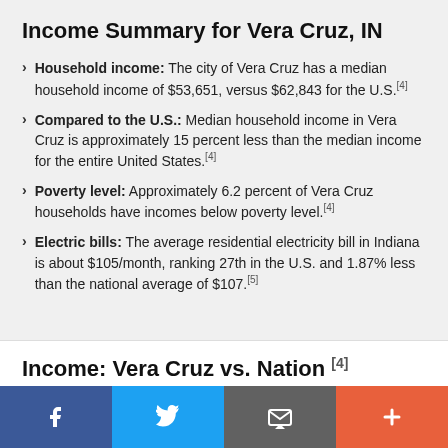Income Summary for Vera Cruz, IN
Household income: The city of Vera Cruz has a median household income of $53,651, versus $62,843 for the U.S.[4]
Compared to the U.S.: Median household income in Vera Cruz is approximately 15 percent less than the median income for the entire United States.[4]
Poverty level: Approximately 6.2 percent of Vera Cruz households have incomes below poverty level.[4]
Electric bills: The average residential electricity bill in Indiana is about $105/month, ranking 27th in the U.S. and 1.87% less than the national average of $107.[5]
Income: Vera Cruz vs. Nation [4]
Income: Vera Cruz vs. U.S.